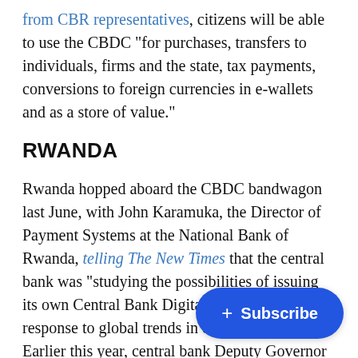from CBR representatives, citizens will be able to use the CBDC "for purchases, transfers to individuals, firms and the state, tax payments, conversions to foreign currencies in e-wallets and as a store of value."
RWANDA
Rwanda hopped aboard the CBDC bandwagon last June, with John Karamuka, the Director of Payment Systems at the National Bank of Rwanda, telling The New Times that the central bank was "studying the possibilities of issuing its own Central Bank Digital Currency in response to global trends in digital currency." Earlier this year, central bank Deputy Governor Soraya Hakuziyaremye confirmed that the bank was still in the investigation ph... reveal its stance on implementing a C... of December 2022.